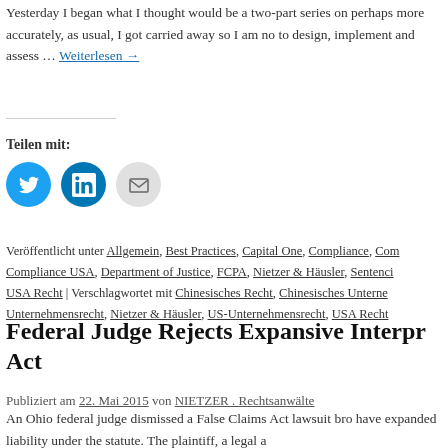Yesterday I began what I thought would be a two-part series on perhaps more accurately, as usual, I got carried away so I am no to design, implement and assess … Weiterlesen →
[Figure (infographic): Social share buttons: Twitter (blue circle), LinkedIn (blue circle), Email (gray circle)]
Teilen mit:
Veröffentlicht unter Allgemein, Best Practices, Capital One, Compliance, Compliance USA, Department of Justice, FCPA, Nietzer & Häusler, Sentencing USA Recht | Verschlagwortet mit Chinesisches Recht, Chinesisches Unternehmen, Unternehmensrecht, Nietzer & Häusler, US-Unternehmensrecht, USA Recht
Federal Judge Rejects Expansive Interpretation of False Claims Act
Publiziert am 22. Mai 2015 von NIETZER . Rechtsanwälte
An Ohio federal judge dismissed a False Claims Act lawsuit bro have expanded liability under the statute. The plaintiff, a legal a